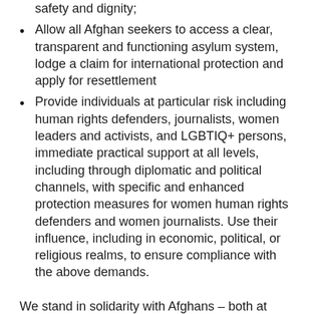safety and dignity;
Allow all Afghan seekers to access a clear, transparent and functioning asylum system, lodge a claim for international protection and apply for resettlement
Provide individuals at particular risk including human rights defenders, journalists, women leaders and activists, and LGBTIQ+ persons, immediate practical support at all levels, including through diplomatic and political channels, with specific and enhanced protection measures for women human rights defenders and women journalists. Use their influence, including in economic, political, or religious realms, to ensure compliance with the above demands.
We stand in solidarity with Afghans – both at home and in exile.